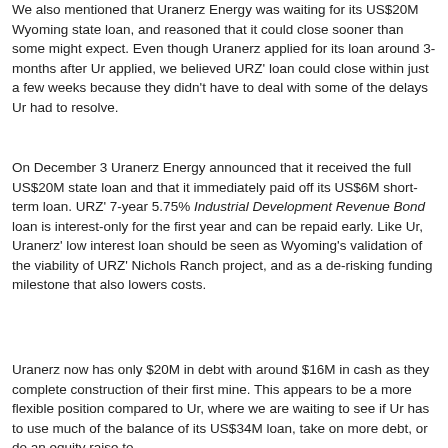We also mentioned that Uranerz Energy was waiting for its US$20M Wyoming state loan, and reasoned that it could close sooner than some might expect. Even though Uranerz applied for its loan around 3-months after Ur applied, we believed URZ' loan could close within just a few weeks because they didn't have to deal with some of the delays Ur had to resolve.
On December 3 Uranerz Energy announced that it received the full US$20M state loan and that it immediately paid off its US$6M short-term loan. URZ' 7-year 5.75% Industrial Development Revenue Bond loan is interest-only for the first year and can be repaid early. Like Ur, Uranerz' low interest loan should be seen as Wyoming's validation of the viability of URZ' Nichols Ranch project, and as a de-risking funding milestone that also lowers costs.
Uranerz now has only $20M in debt with around $16M in cash as they complete construction of their first mine. This appears to be a more flexible position compared to Ur, where we are waiting to see if Ur has to use much of the balance of its US$34M loan, take on more debt, or do an equity raise to